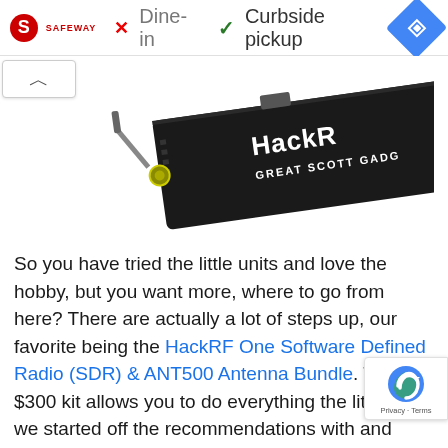[Figure (screenshot): Ad bar with Safeway logo, X Dine-in, checkmark Curbside pickup, and blue navigation diamond icon]
[Figure (photo): HackRF One SDR device - black rectangular electronics device with antenna and label reading HackRF GREAT SCOTT GADGETS]
So you have tried the little units and love the hobby, but you want more, where to go from here? There are actually a lot of steps up, our favorite being the HackRF One Software Defined Radio (SDR) & ANT500 Antenna Bundle. This $300 kit allows you to do everything the little kit we started off the recommendations with and adds a frequency range of 1MHz to 6GHz and includes the capability of transmitting